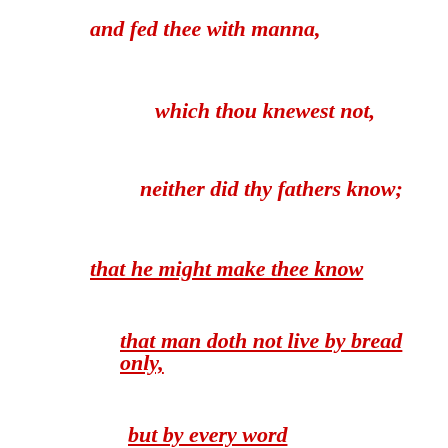and fed thee with manna,
which thou knewest not,
neither did thy fathers know;
that he might make thee know
that man doth not live by bread only,
but by every word
that proceedeth
out of the mouth
of the LORD